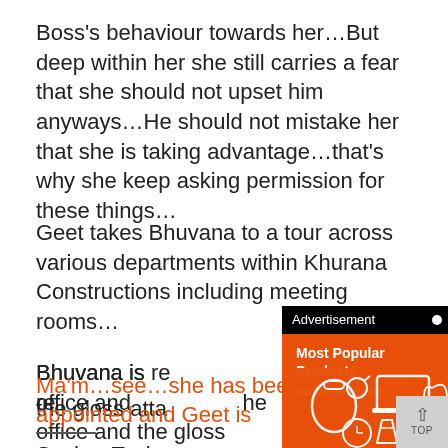Boss's behaviour towards her…But deep within her she still carries a fear that she should not upset him anyways…He should not mistake her that she is taking advantage…that's why she keep asking permission for these things…
Geet takes Bhuvana to a tour across various departments within Khurana Constructions including meeting rooms…
Bhuvana is re[...] he office and the gloss atta[...]
Sasha- Tasha [...] unning thro their veins…
[Figure (other): Advertisement overlay: black header bar with 'Advertisement' text and white dot, orange body with 'Most Popular Products' title and 'dated Weekly!' subtitle, with white silhouette icons of shopping/technology items]
Ma'm…see…she has been appointed and Geet is